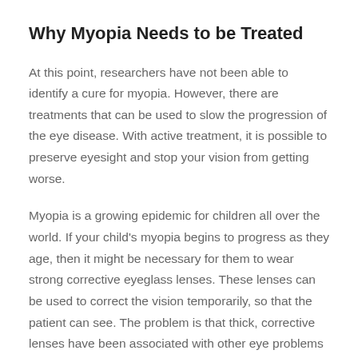Why Myopia Needs to be Treated
At this point, researchers have not been able to identify a cure for myopia. However, there are treatments that can be used to slow the progression of the eye disease. With active treatment, it is possible to preserve eyesight and stop your vision from getting worse.
Myopia is a growing epidemic for children all over the world. If your child's myopia begins to progress as they age, then it might be necessary for them to wear strong corrective eyeglass lenses. These lenses can be used to correct the vision temporarily, so that the patient can see. The problem is that thick, corrective lenses have been associated with other eye problems that can develop later in life. For example, these lenses might be associated with the development of